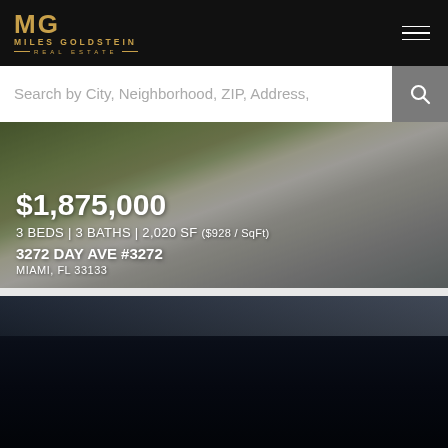[Figure (logo): Miles Goldstein Real Estate logo with MG monogram in gold on dark background]
Search by City, Neighborhood, ZIP, Address,
[Figure (photo): Exterior driveway/walkway of property at 3272 Day Ave, Miami, FL with concrete pavers and greenery]
$1,875,000
3 BEDS | 3 BATHS | 2,020 SF ($928 / SqFt)
3272 DAY AVE #3272
MIAMI, FL 33133
[Figure (photo): Second property image, mostly dark/black with faint architectural elements at top]